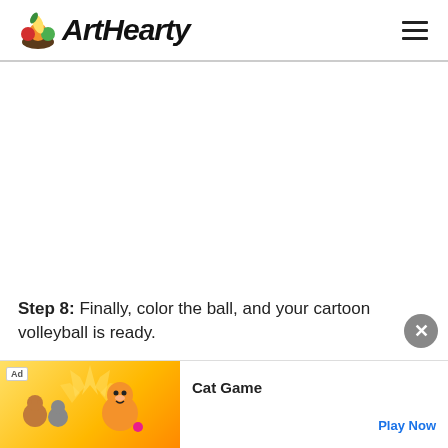ArtHearty
[Figure (screenshot): Large blank white content area where a drawing/image would appear, showing a cartoon volleyball drawing tutorial]
Step 8: Finally, color the ball, and your cartoon volleyball is ready.
[Figure (other): Advertisement banner for Cat Game showing cartoon cats and a Play Now button]